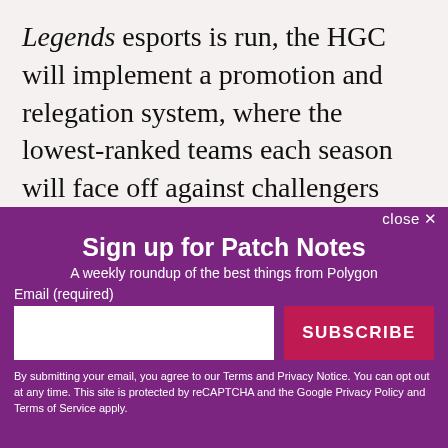Legends esports is run, the HGC will implement a promotion and relegation system, where the lowest-ranked teams each season will face off against challengers from a Blizzard-sponsored amateur circuit called the Open Division. This will force teams on the HGC to fight for their spots or be replaced. Heroes Global Championship promotion and relegation
close ✕
Sign up for Patch Notes
A weekly roundup of the best things from Polygon
Email (required)
SUBSCRIBE
By submitting your email, you agree to our Terms and Privacy Notice. You can opt out at any time. This site is protected by reCAPTCHA and the Google Privacy Policy and Terms of Service apply.